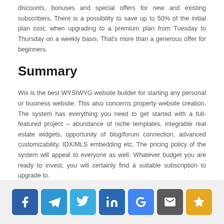discounts, bonuses and special offers for new and existing subscribers. There is a possibility to save up to 50% of the initial plan cost, when upgrading to a premium plan from Tuesday to Thursday on a weekly basis. That's more than a generous offer for beginners.
Summary
Wix is the best WYSIWYG website builder for starting any personal or business website. This also concerns property website creation. The system has everything you need to get started with a full-featured project – abundance of niche templates, integrable real estate widgets, opportunity of blog/forum connection, advanced customizability, IDX/MLS embedding etc. The pricing policy of the system will appeal to everyone as well. Whatever budget you are ready to invest, you will certainly find a suitable subscription to upgrade to.
Social share buttons: Facebook, Telegram, Twitter, LinkedIn, Google, Review, Star